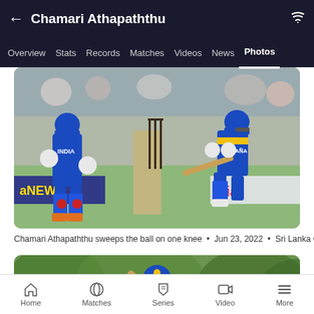Chamari Athapaththu
Overview  Stats  Records  Matches  Videos  News  Photos
[Figure (photo): Cricket match photo: Sri Lanka batter sweeping the ball on one knee with India wicketkeeper in blue jersey, stumps visible in centre, advertising boards in background]
Chamari Athapaththu sweeps the ball on one knee  •  Jun 23, 2022  •  Sri Lanka Cricket
[Figure (photo): Sri Lanka batter in blue and yellow jersey playing a lofted drive shot, green trees in background]
Home  Matches  Series  Video  More